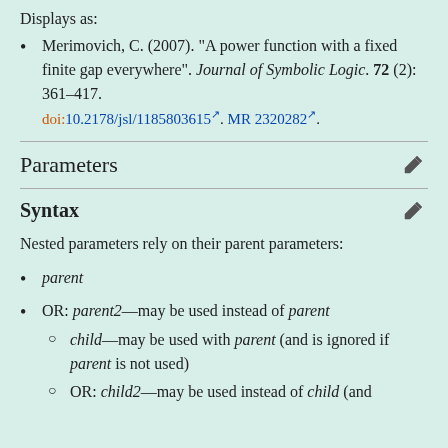Displays as:
Merimovich, C. (2007). "A power function with a fixed finite gap everywhere". Journal of Symbolic Logic. 72 (2): 361–417. doi:10.2178/jsl/1185803615. MR 2320282.
Parameters
Syntax
Nested parameters rely on their parent parameters:
parent
OR: parent2—may be used instead of parent
child—may be used with parent (and is ignored if parent is not used)
OR: child2—may be used instead of child (and